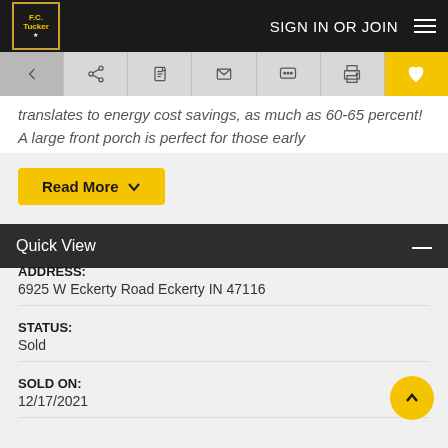F.C. Tucker | SIGN IN OR JOIN
translates to energy cost savings, as much as 60-65 percent! A large front porch is perfect for those early
Read More
Quick View
ADDRESS:
6925 W Eckerty Road Eckerty IN 47116
STATUS:
Sold
SOLD ON:
12/17/2021